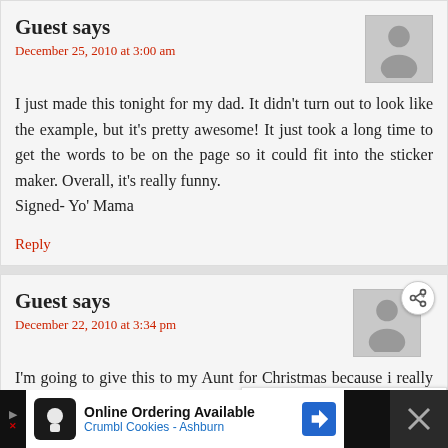Guest says
December 25, 2010 at 3:00 am
I just made this tonight for my dad. It didn't turn out to look like the example, but it's pretty awesome! It just took a long time to get the words to be on the page so it could fit into the sticker maker. Overall, it's really funny.
Signed- Yo' Mama
Reply
Guest says
December 22, 2010 at 3:34 pm
I'm going to give this to my Aunt for Christmas because i really don't know what to make her. HOPE SHE LIKES IT!!! WISH ME LUCK!! 🙂
[Figure (infographic): Ad bar at bottom: Online Ordering Available, Crumbl Cookies - Ashburn]
[Figure (infographic): What's Next overlay: Halloween Coat Hanger Wreath thumbnail]